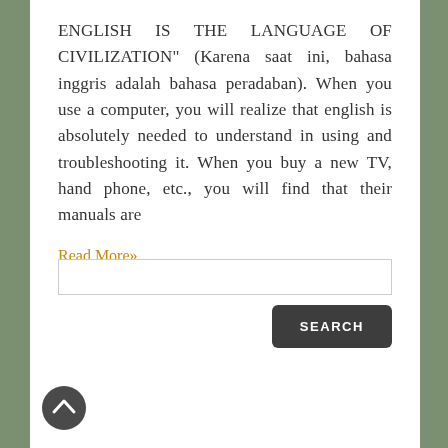ENGLISH IS THE LANGUAGE OF CIVILIZATION" (Karena saat ini, bahasa inggris adalah bahasa peradaban). When you use a computer, you will realize that english is absolutely needed to understand in using and troubleshooting it. When you buy a new TV, hand phone, etc., you will find that their manuals are
Read More»